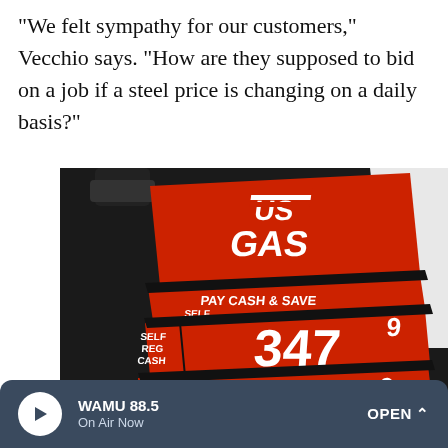"We felt sympathy for our customers," Vecchio says. "How are they supposed to bid on a job if a steel price is changing on a daily basis?"
[Figure (photo): A gas station price sign showing US GAS with prices: Self Reg Cash 347.9, Self Reg Credit 353.9, Full Reg Cash 379.9. Red sign with white lettering. Pay Cash & Save label visible.]
WAMU 88.5 On Air Now OPEN ^